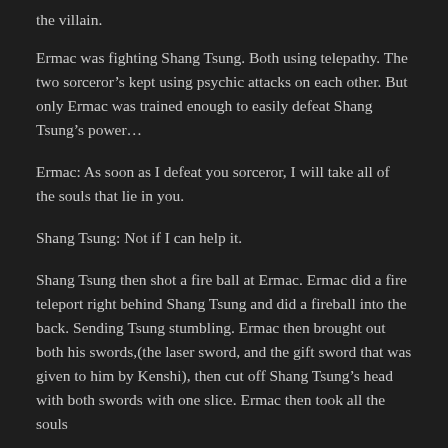the villain.
Ermac was fighting Shang Tsung. Both using telepathy. The two sorceror’s kept using psychic attacks on each other. But only Ermac was trained enough to easily defeat Shang Tsung’s power…
Ermac: As soon as I defeat you sorceror, I will take all of the souls that lie in you.
Shang Tsung: Not if I can help it.
Shang Tsung then shot a fire ball at Ermac. Ermac did a fire teleport right behind Shang Tsung and did a fireball into the back. Sending Tsung stumbling. Ermac then brought out both his swords,(the laser sword, and the gift sword that was given to him by Kenshi), then cut off Shang Tsung’s head with both swords with one slice. Ermac then took all the souls that lie in Tsung’s body.